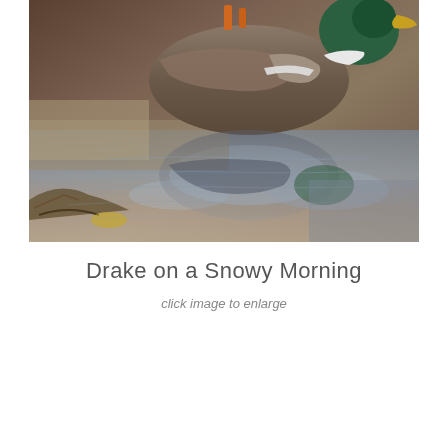[Figure (photo): Close-up photograph of a mallard drake (duck) standing near water, with its reflection visible in the shallow water below. The duck has orange legs, a green and white head visible at top right, and brownish-gray body plumage. The water surface shows ripples and blue sky reflections. Autumn/winter debris and branches are visible at the water's edge.]
Drake on a Snowy Morning
click image to enlarge